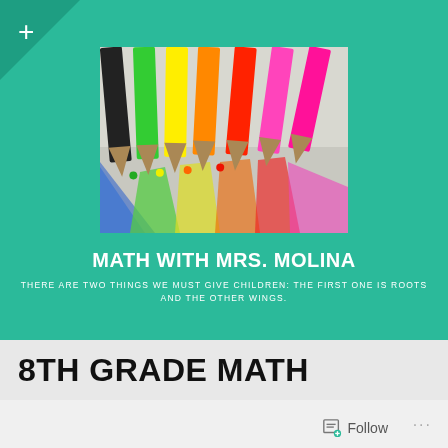[Figure (photo): Close-up photo of colorful pencils (black, green, yellow, orange, red, pink) arranged in a fan/row with their tips pointing down, showing vibrant colors streaking behind them on a white surface.]
MATH WITH MRS. MOLINA
THERE ARE TWO THINGS WE MUST GIVE CHILDREN: THE FIRST ONE IS ROOTS AND THE OTHER WINGS.
8TH GRADE MATH